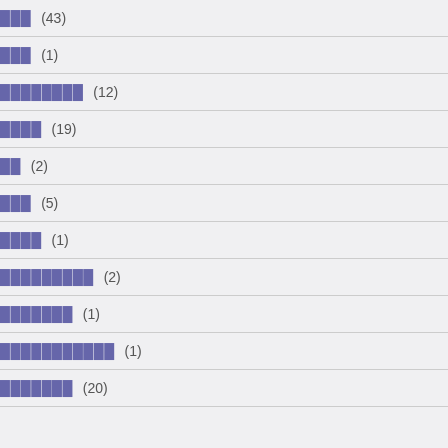███ (43)
███ (1)
████████ (12)
████ (19)
██ (2)
███ (5)
████ (1)
█████████ (2)
███████ (1)
███████████ (1)
███████ (20)